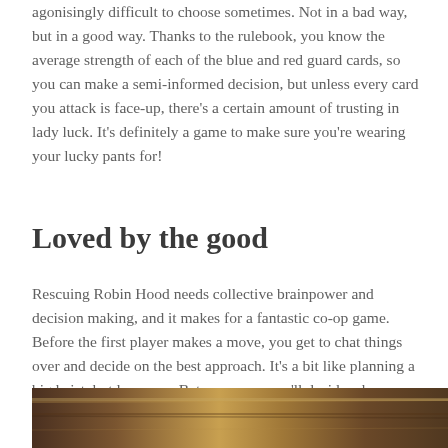agonisingly difficult to choose sometimes. Not in a bad way, but in a good way. Thanks to the rulebook, you know the average strength of each of the blue and red guard cards, so you can make a semi-informed decision, but unless every card you attack is face-up, there's a certain amount of trusting in lady luck. It's definitely a game to make sure you're wearing your lucky pants for!
Loved by the good
Rescuing Robin Hood needs collective brainpower and decision making, and it makes for a fantastic co-op game. Before the first player makes a move, you get to chat things over and decide on the best approach. It's a bit like planning a big heist, but less sexy. Between you, you'll decide who should do what, where you can afford to take chances, and even use some bonus tokens to do things like reveal more guards, or move them around.
[Figure (photo): Partial view of a wooden surface, appearing to be a game board or table with warm brown tones.]